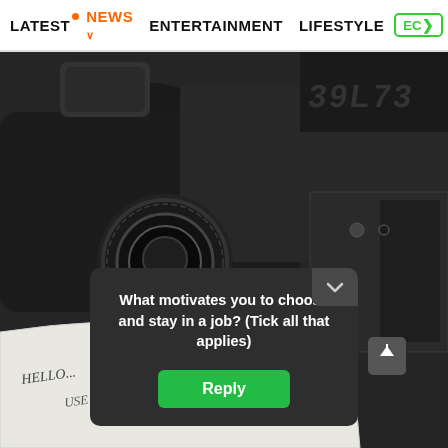LATEST · NEWS · ENTERTAINMENT · LIFESTYLE · EC>
[Figure (photo): Close-up photo of motorcycle handlebar controls and instrument cluster, dark metal components. A handwritten note partially visible at bottom reading 'HELLO... USE NEW HIRE... ABLE BEFORE...']
What motivates you to choose and stay in a job? (Tick all that applies)
Reply